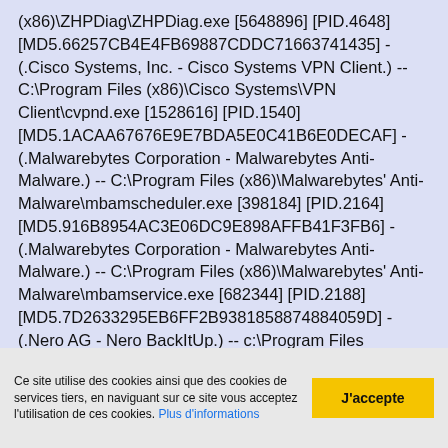(x86)\ZHPDiag\ZHPDiag.exe [5648896] [PID.4648] [MD5.66257CB4E4FB69887CDDC71663741435] - (.Cisco Systems, Inc. - Cisco Systems VPN Client.) -- C:\Program Files (x86)\Cisco Systems\VPN Client\cvpnd.exe [1528616] [PID.1540] [MD5.1ACAA67676E9E7BDA5E0C41B6E0DECAF] - (.Malwarebytes Corporation - Malwarebytes Anti-Malware.) -- C:\Program Files (x86)\Malwarebytes' Anti-Malware\mbamscheduler.exe [398184] [PID.2164] [MD5.916B8954AC3E06DC9E898AFFB41F3FB6] - (.Malwarebytes Corporation - Malwarebytes Anti-Malware.) -- C:\Program Files (x86)\Malwarebytes' Anti-Malware\mbamservice.exe [682344] [PID.2188] [MD5.7D2633295EB6FF2B9381858874884059D] - (.Nero AG - Nero BackItUp.) -- c:\Program Files (x86)\Common Files\Nero\Nero BackItUp 4\NBService.exe [935208] [PID.2344] [MD5.A1089AC7683826E6C7C9FAB9723DD80F] - (.PC Tools - PC Tools Auxiliary Service.) -- C:\Program Files (x86)\PC
Ce site utilise des cookies ainsi que des cookies de services tiers, en naviguant sur ce site vous acceptez l'utilisation de ces cookies. Plus d'informations